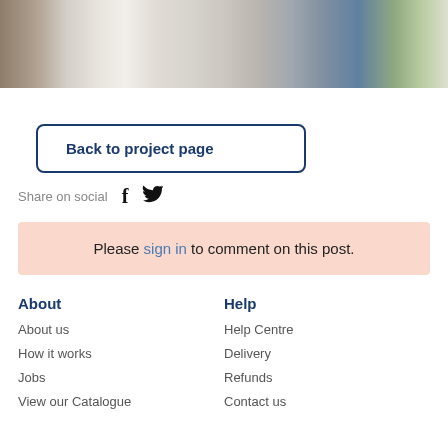[Figure (photo): Partial photo of a decorated room interior with white curtains, a blue pot with white flowers, and other decorative items on a shelf.]
Back to project page
Share on social
Please sign in to comment on this post.
About
Help
About us
How it works
Jobs
View our Catalogue
Help Centre
Delivery
Refunds
Contact us